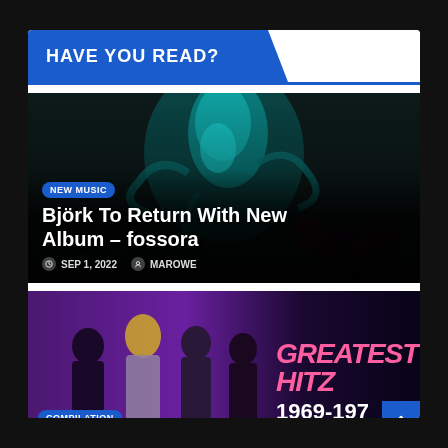HAVE YOU READ?
[Figure (photo): Björk album art - ethereal figure in teal/dark fantasy setting]
NEW MUSIC
Björk To Return With New Album – fossora
SEP 1, 2022  MAROWE
[Figure (photo): Band photo on purple background with Greatest Hits 1969-1978 text, compilation album cover]
COMPILATION
GREATEST HITZ 1969-1978